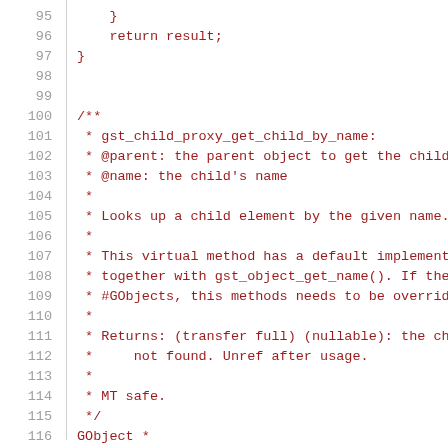[Figure (screenshot): Source code editor view showing C code lines 95-116 with line numbers in grey and code in dark red monospace font. Lines show closing braces, a doc comment block for gst_child_proxy_get_child_by_name function, and a GObject* declaration.]